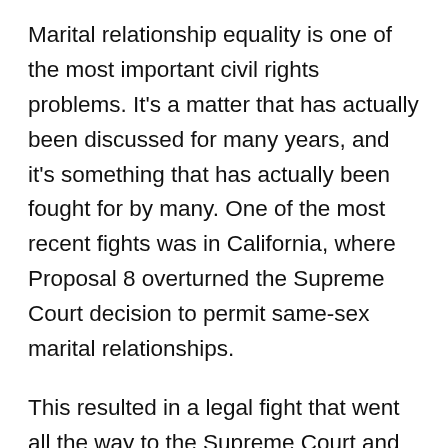Marital relationship equality is one of the most important civil rights problems. It's a matter that has actually been discussed for many years, and it's something that has actually been fought for by many. One of the most recent fights was in California, where Proposal 8 overturned the Supreme Court decision to permit same-sex marital relationships.
This resulted in a legal fight that went all the way to the Supreme Court and ended with a landmark decision on June 26, 2015. The Supreme Court ruled 5-4 favour